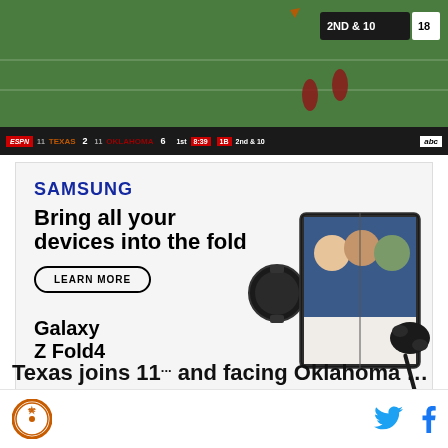[Figure (screenshot): ESPN broadcast of Texas vs Oklahoma football game. Score bar shows TEXAS 2, OKLAHOMA 6, 1st quarter, 8:39, 2nd & 10. ABC logo visible. Field shows 2ND & 10, 18 yard line sign.]
[Figure (infographic): Samsung advertisement promoting Galaxy Z Fold4. Headline: Bring all your devices into the fold. LEARN MORE button. Galaxy Z Fold4 product text. Shows images of the foldable phone with screen open, Galaxy Watch, and Galaxy Buds. Disclaimer text about S Pen and Microsoft Teams.]
Texas joins 11...and facing Oklahoma ahead of 4-0...
[Figure (logo): Burnt Orange Nation (BON) circular logo with star and BC initials. Social media icons: Twitter bird (blue) and Facebook f (blue).]